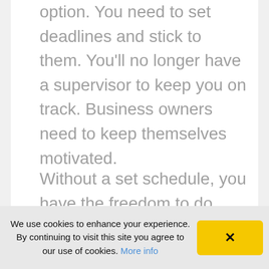option. You need to set deadlines and stick to them. You'll no longer have a supervisor to keep you on track. Business owners need to keep themselves motivated.
Without a set schedule, you have the freedom to do what you want with your time. This is a blessing and a curse. It's easy to allow the day to get away from you without accomplishing anything.
We use cookies to enhance your experience. By continuing to visit this site you agree to our use of cookies. More info